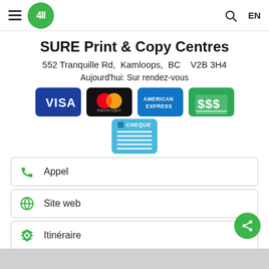411 — hamburger menu, logo, search, EN
SURE Print & Copy Centres
552 Tranquille Rd,  Kamloops,  BC   V2B 3H4
Aujourd'hui: Sur rendez-vous
[Figure (infographic): Payment method icons: Visa, Mastercard, American Express, cash ($$$ green), Cheque]
Appel
Site web
Itinéraire